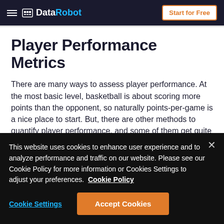DataRobot — Start for Free
Player Performance Metrics
There are many ways to assess player performance. At the most basic level, basketball is about scoring more points than the opponent, so naturally points-per-game is a nice place to start. But, there are other methods to quantify player performance, and some of them get quite complex like Box Plus Minus or Player Efficiency Rating.
This website uses cookies to enhance user experience and to analyze performance and traffic on our website. Please see our Cookie Policy for more information or Cookies Settings to adjust your preferences. Cookie Policy
Cookie Settings    Accept Cookies